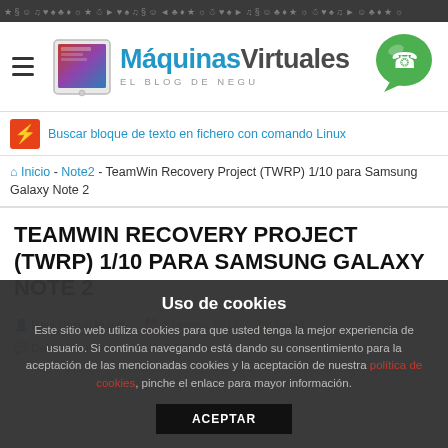Máquinas Virtuales – EL BLOG DE NEGU
Buscar bloque de texto en fichero con comando Linux
🏠 Inicio – Note2 – TeamWin Recovery Project (TWRP) 1/10 para Samsung Galaxy Note 2
TEAMWIN RECOVERY PROJECT (TWRP) 1/10 PARA SAMSUNG GALAXY NOTE 2
Raul Unzue Pulido  20 enero, 2013  Note2  Deja un comentario  2,543 Vistas
Uso de cookies
Este sitio web utiliza cookies para que usted tenga la mejor experiencia de usuario. Si continúa navegando está dando su consentimiento para la aceptación de las mencionadas cookies y la aceptación de nuestra política de cookies, pinche el enlace para mayor información.
ACEPTAR